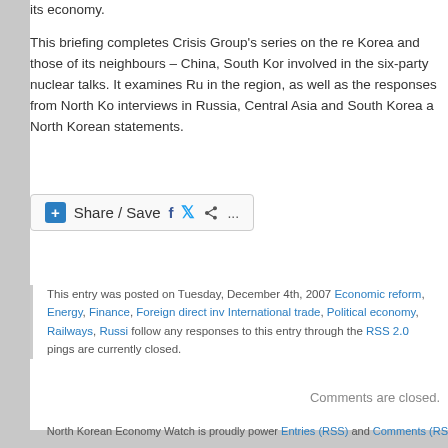its economy.

This briefing completes Crisis Group's series on the re Korea and those of its neighbours – China, South Kor involved in the six-party nuclear talks. It examines Ru in the region, as well as the responses from North Ko interviews in Russia, Central Asia and South Korea a North Korean statements.
[Figure (other): Share / Save social sharing button bar with Facebook, Twitter, and share icons]
This entry was posted on Tuesday, December 4th, 2007 Economic reform, Energy, Finance, Foreign direct inv International trade, Political economy, Railways, Russi follow any responses to this entry through the RSS 2.0 pings are currently closed.
Comments are closed.
North Korean Economy Watch is proudly power Entries (RSS) and Comments (RS